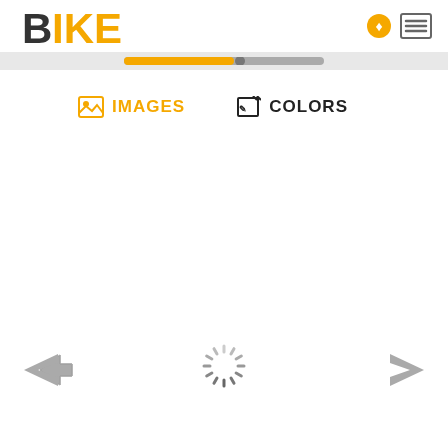[Figure (screenshot): BIKE app logo with stylized text, orange and dark gray colors]
[Figure (screenshot): Progress bar showing orange filled portion and gray unfilled portion]
IMAGES
COLORS
[Figure (screenshot): Loading spinner (circular gray dashed spinner) in the center of the content area]
[Figure (screenshot): Left navigation arrow (back)]
[Figure (screenshot): Right navigation arrow (forward)]